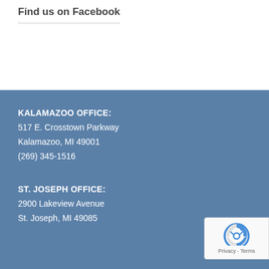Find us on Facebook
KALAMAZOO OFFICE:
517 E. Crosstown Parkway
Kalamazoo, MI 49001
(269) 345-1516
ST. JOSEPH OFFICE:
2900 Lakeview Avenue
St. Joseph, MI 49085